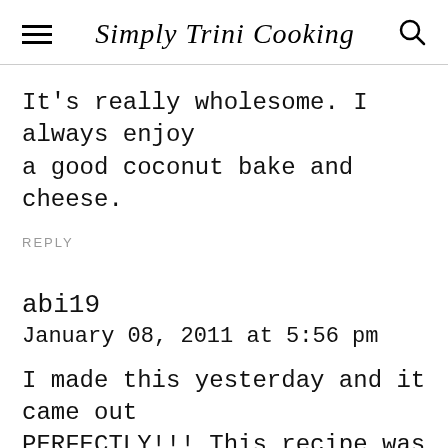Simply Trini Cooking
It's really wholesome. I always enjoy a good coconut bake and cheese.
REPLY
abi19
January 08, 2011 at 5:56 pm
I made this yesterday and it came out PERFECTLY!!! This recipe was easy to